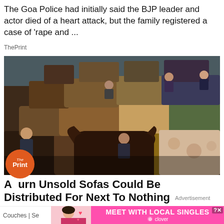The Goa Police had initially said the BJP leader and actor died of a heart attack, but the family registered a case of 'rape and ...
ThePrint
[Figure (photo): A large pile of used sofas and couches stacked high in a warehouse-like setting, with several people sitting or lying on the furniture at various heights.]
A_urn Unsold Sofas Could Be Distributed For Next To Nothing  Advertisement
Couches | Se    MEET WITH LOCAL SINGLES  clover